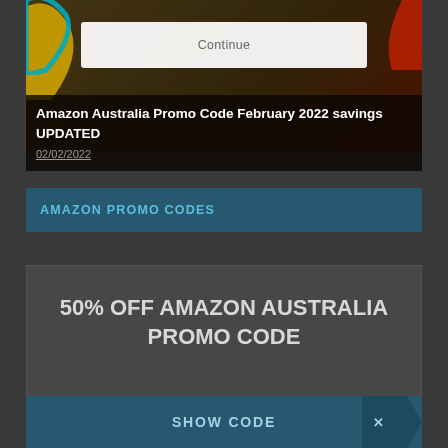[Figure (screenshot): Top section showing a website screenshot with a 'Continue' button overlay on a dark yellow/brown background with Amazon Australia branding elements (colored arc and red corner)]
Amazon Australia Promo Code February 2022 savings UPDATED
02/02/2022
AMAZON PROMO CODES
50% OFF AMAZON AUSTRALIA PROMO CODE
SHOW CODE